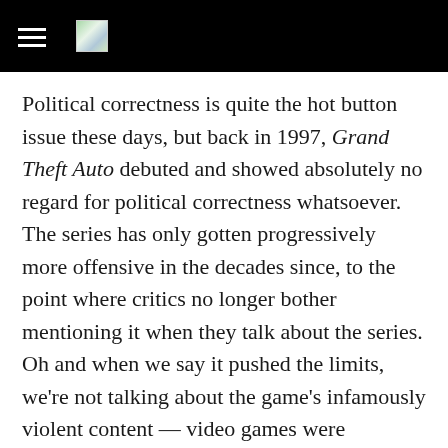[hamburger menu icon] [logo image]
Political correctness is quite the hot button issue these days, but back in 1997, Grand Theft Auto debuted and showed absolutely no regard for political correctness whatsoever. The series has only gotten progressively more offensive in the decades since, to the point where critics no longer bother mentioning it when they talk about the series. Oh and when we say it pushed the limits, we're not talking about the game's infamously violent content — video games were criticized for their violence long before GTA came along. We're talking about hiring an escort, doing the deed in the back of a car, and then beating the woman to death with a baseball bat. Drinking and